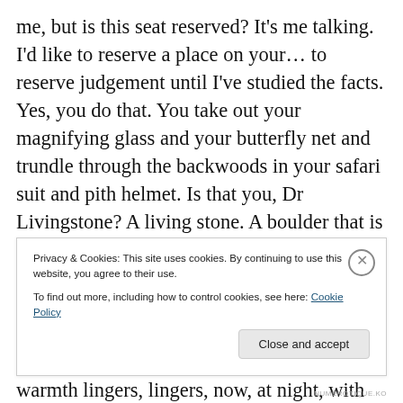me, but is this seat reserved? It's me talking. I'd like to reserve a place on your… to reserve judgement until I've studied the facts. Yes, you do that. You take out your magnifying glass and your butterfly net and trundle through the backwoods in your safari suit and pith helmet. Is that you, Dr Livingstone? A living stone. A boulder that is now a bench as you settle down to write and the sun – oh, you have missed the sun, how you have missed the sun in these days of sans soleil – but it's out now, again, out, the sun in all its glory, all day it has been there, and its warmth lingers, lingers, now, at night, with all the windows wide
Privacy & Cookies: This site uses cookies. By continuing to use this website, you agree to their use.
To find out more, including how to control cookies, see here: Cookie Policy
NUMÉROTIQUE.KO